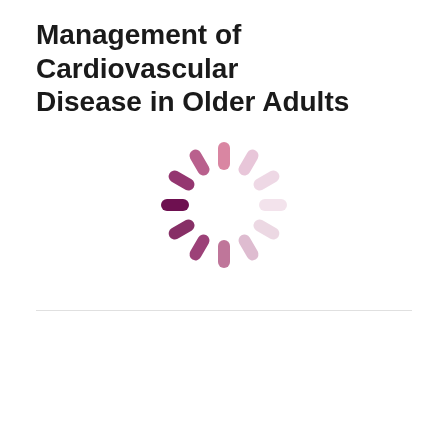Management of Cardiovascular Disease in Older Adults
[Figure (illustration): A loading spinner graphic composed of pill/dash shaped segments arranged in a circle, transitioning from dark magenta/purple on the left side to light lavender/pink on the right side, indicating a loading state.]
+ SAVE | ★ 0.75 CME | 🕐 00:43
THIS COURSE HAS BEEN EXPIRED.
OVERVIEW
Dr. Daniel E. Forman talks about the relevance of age and